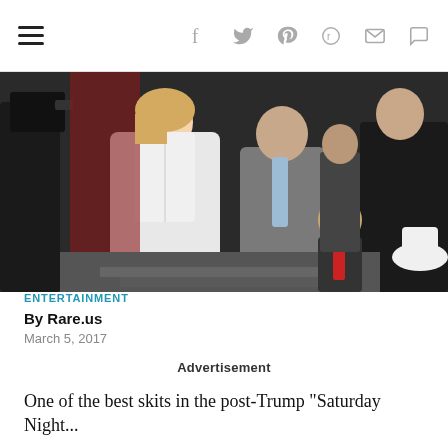Navigation and social share icons (hamburger menu, Facebook, Twitter, Pinterest, Reddit, Mail, Comment)
[Figure (photo): Photograph of people including a woman in white coat and a man in gray suit walking down steps at what appears to be a formal event, surrounded by photographers and onlookers.]
ENTERTAINMENT
By Rare.us
March 5, 2017
Advertisement
One of the best skits in the post-Trump "Saturday Night Live" season has been the recurring use of f